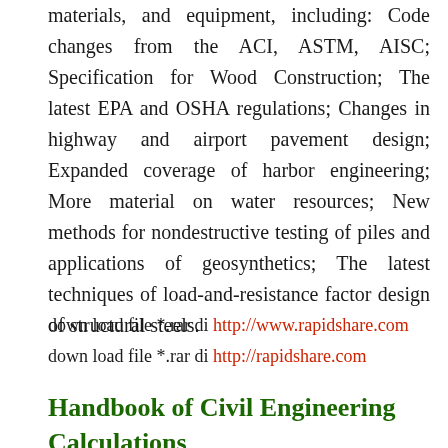materials, and equipment, including: Code changes from the ACI, ASTM, AISC; Specification for Wood Construction; The latest EPA and OSHA regulations; Changes in highway and airport pavement design; Expanded coverage of harbor engineering; More material on water resources; New methods for nondestructive testing of piles and applications of geosynthetics; The latest techniques of load-and-resistance factor design of structural steels.
down load file *.rar di http://www.rapidshare.com
down load file *.rar di http://rapidshare.com
Handbook of Civil Engineering Calculations